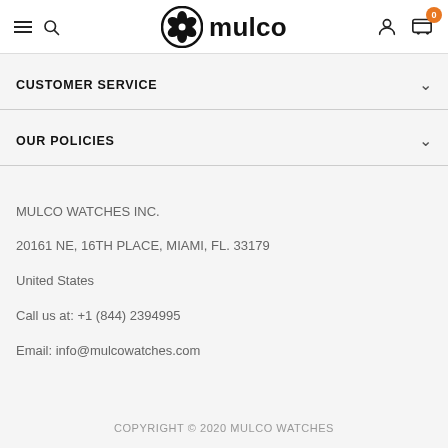MULCO — navigation header with hamburger, search, logo, account, and cart (0)
CUSTOMER SERVICE
OUR POLICIES
MULCO WATCHES INC.
20161 NE, 16TH PLACE, MIAMI, FL. 33179
United States

Call us at: +1 (844) 2394995
Email: info@mulcowatches.com
COPYRIGHT © 2020 MULCO WATCHES